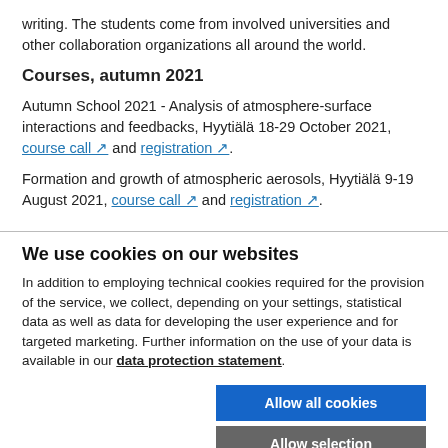writing. The students come from involved universities and other collaboration organizations all around the world.
Courses, autumn 2021
Autumn School 2021 - Analysis of atmosphere-surface interactions and feedbacks, Hyytiälä 18-29 October 2021, course call ↗ and registration ↗.
Formation and growth of atmospheric aerosols, Hyytiälä 9-19 August 2021, course call ↗ and registration ↗.
We use cookies on our websites
In addition to employing technical cookies required for the provision of the service, we collect, depending on your settings, statistical data as well as data for developing the user experience and for targeted marketing. Further information on the use of your data is available in our data protection statement.
Allow all cookies
Allow selection
Use necessary cookies only